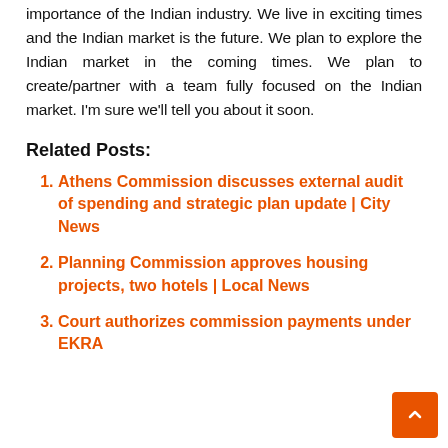importance of the Indian industry. We live in exciting times and the Indian market is the future. We plan to explore the Indian market in the coming times. We plan to create/partner with a team fully focused on the Indian market. I'm sure we'll tell you about it soon.
Related Posts:
Athens Commission discusses external audit of spending and strategic plan update | City News
Planning Commission approves housing projects, two hotels | Local News
Court authorizes commission payments under EKRA